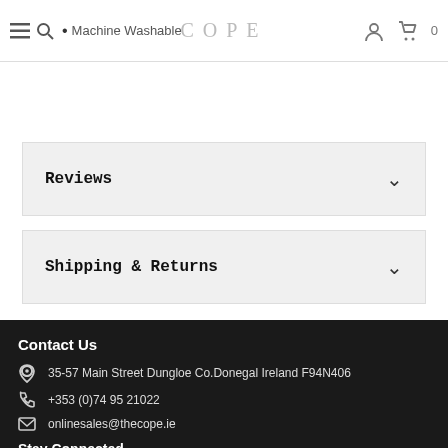Machine Washable | COPE | [user icon] [cart icon] 0
Reviews
Shipping & Returns
Contact Us
35-57 Main Street Dungloe Co.Donegal Ireland F94N406
+353 (0)74 95 21022
onlinesales@thecope.ie
Stay Connected
[Facebook] [Twitter] [Instagram]
STORE INFORMATION